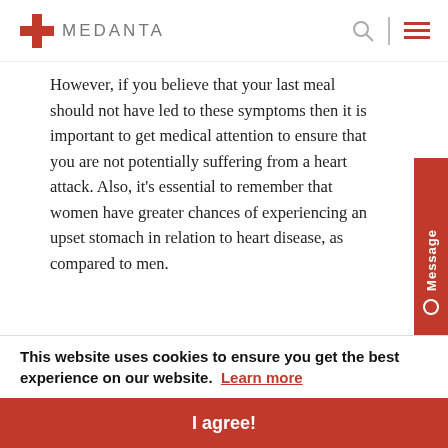Medanta
However, if you believe that your last meal should not have led to these symptoms then it is important to get medical attention to ensure that you are not potentially suffering from a heart attack. Also, it's essential to remember that women have greater chances of experiencing an upset stomach in relation to heart disease, as compared to men.
3. Sudden Pain in the Arm, Neck,
This website uses cookies to ensure you get the best experience on our website. Learn more
I agree!